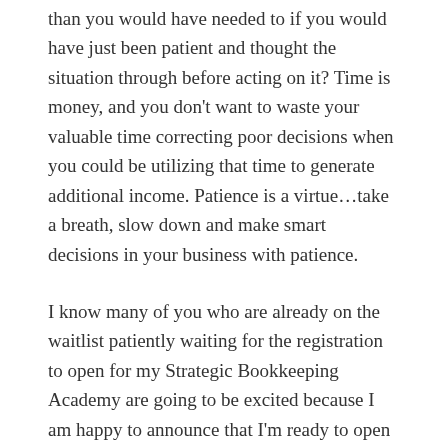than you would have needed to if you would have just been patient and thought the situation through before acting on it?  Time is money, and you don't want to waste your valuable time correcting poor decisions when you could be utilizing that time to generate additional income. Patience is a virtue…take a breath, slow down and make smart decisions in your business with patience.
I know many of you who are already on the waitlist patiently waiting for the registration to open for my Strategic Bookkeeping Academy are going to be excited because I am happy to announce that I'm ready to open registration, so take a second and